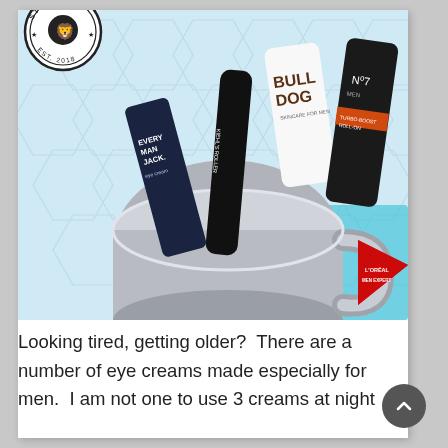[Figure (photo): Overhead photo of several men's skincare products in a silver mug: Every Man Jack eye cream, a Kiehl's roller, Bulldog skincare, No7 Men roll-on, and L'Oreal Men Expert red tube, on a hexagonal tile background with cyan accents. StyleAMen logo (circular badge, EST. 2018) in upper left.]
Looking tired, getting older?  There are a number of eye creams made especially for men.  I am not one to use 3 creams at night